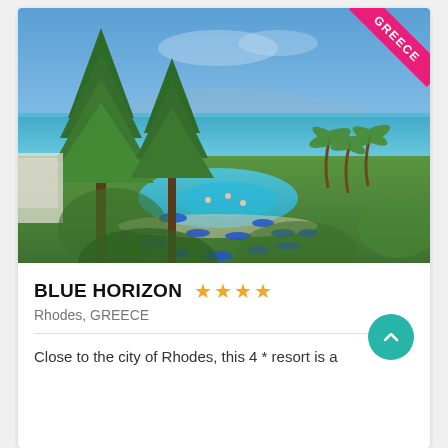[Figure (photo): Aerial view of Blue Horizon resort in Rhodes, Greece, showing a large swimming pool surrounded by blue umbrellas, palm trees and pine trees, with turquoise sea and beach in the background. A pink ribbon banner in the top-right corner reads GREECE.]
BLUE HORIZON ★★★★
Rhodes, GREECE
Close to the city of Rhodes, this 4 * resort is a